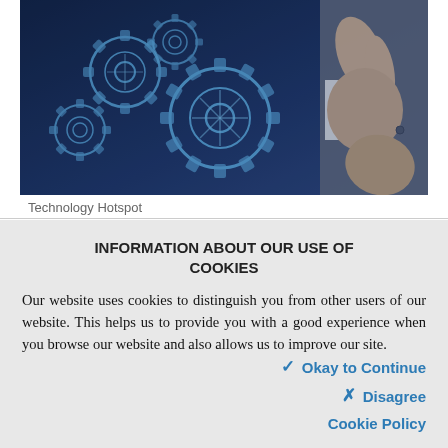[Figure (photo): A businessman's hand touching or manipulating holographic blue mechanical gears against a dark navy blue background. The gears appear translucent and technical, with the man wearing a grey suit.]
Technology Hotspot
INFORMATION ABOUT OUR USE OF COOKIES
Our website uses cookies to distinguish you from other users of our website. This helps us to provide you with a good experience when you browse our website and also allows us to improve our site.
✓ Okay to Continue
✗ Disagree
Cookie Policy